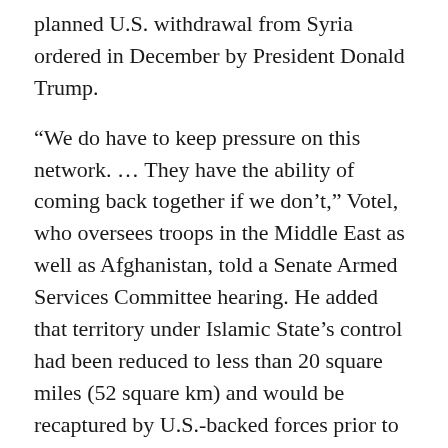planned U.S. withdrawal from Syria ordered in December by President Donald Trump.
“We do have to keep pressure on this network. … They have the ability of coming back together if we don’t,” Votel, who oversees troops in the Middle East as well as Afghanistan, told a Senate Armed Services Committee hearing. He added that territory under Islamic State’s control had been reduced to less than 20 square miles (52 square km) and would be recaptured by U.S.-backed forces prior to the U.S. withdrawal, which he said would be carried out in a “deliberate and coordinated manner.”
Votel told the Senate hearing he was not consulted ahead of Trump’s surprise decision to withdraw